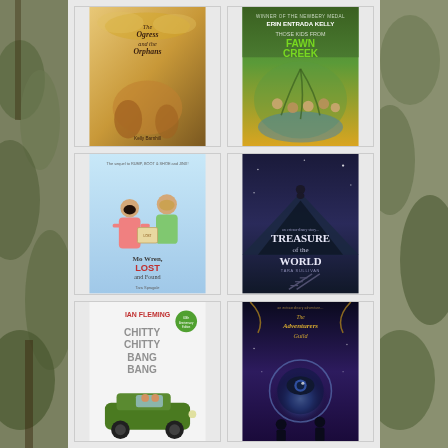[Figure (photo): Book cover: The Ogress and the Orphans by Kelly Barnhill - warm golden-brown illustrated cover with fantasy characters]
[Figure (photo): Book cover: Those Kids from Fawn Creek by Erin Entrada Kelly - green and yellow cover with children by a creek]
[Figure (photo): Book cover: Mo Wren, Lost and Found by Tara Spragale - light blue illustrated cover with two children]
[Figure (photo): Book cover: Treasure of the World by Tara Sullivan - dark blue/purple cover with silhouette figure on mountain]
[Figure (photo): Book cover: Chitty Chitty Bang Bang by Ian Fleming - white cover with vintage car illustration]
[Figure (photo): Book cover: The Adventurers Guild - dark purple cover with fantasy portal illustration]